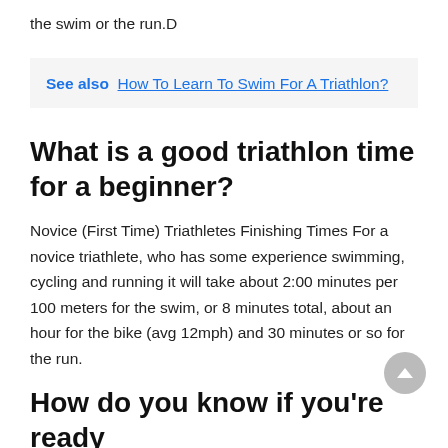the swim or the run.D
See also  How To Learn To Swim For A Triathlon?
What is a good triathlon time for a beginner?
Novice (First Time) Triathletes Finishing Times For a novice triathlete, who has some experience swimming, cycling and running it will take about 2:00 minutes per 100 meters for the swim, or 8 minutes total, about an hour for the bike (avg 12mph) and 30 minutes or so for the run.
How do you know if you're ready